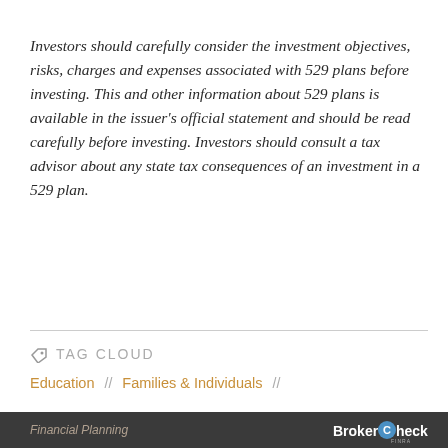Investors should carefully consider the investment objectives, risks, charges and expenses associated with 529 plans before investing. This and other information about 529 plans is available in the issuer's official statement and should be read carefully before investing. Investors should consult a tax advisor about any state tax consequences of an investment in a 529 plan.
TAG CLOUD
Education // Families & Individuals //
Financial Planning | BrokerCheck FINRA